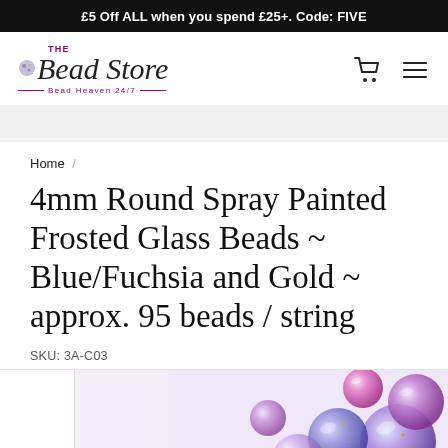£5 Off ALL when you spend £25+. Code: FIVE
[Figure (logo): The Bead Store logo with tagline 'Bead Heaven 24/7', cart icon and hamburger menu icon]
Home /
4mm Round Spray Painted Frosted Glass Beads ~ Blue/Fuchsia and Gold ~ approx. 95 beads / string
SKU: 3A-C03
[Figure (photo): Close-up photo of round frosted glass beads in blue, purple/fuchsia and gold tones]